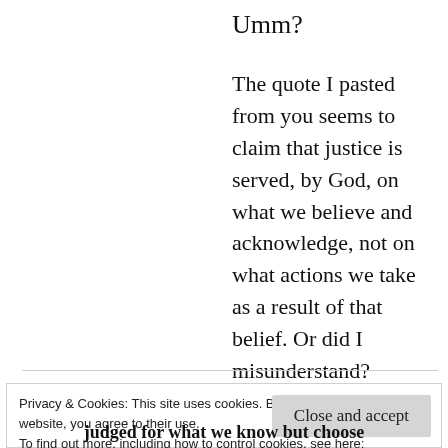Umm?
The quote I pasted from you seems to claim that justice is served, by God, on what we believe and acknowledge, not on what actions we take as a result of that belief. Or did I misunderstand?
Reply
Privacy & Cookies: This site uses cookies. By continuing to use this website, you agree to their use.
To find out more, including how to control cookies, see here:
Cookie Policy
Close and accept
judged for what we know but choose